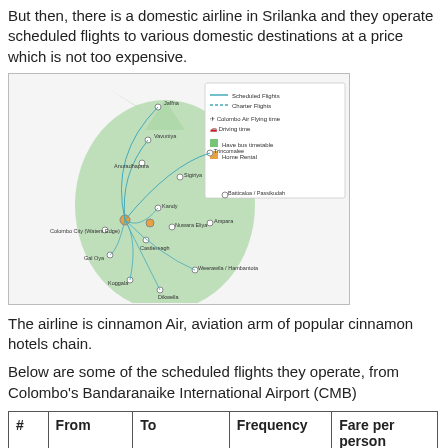But then, there is a domestic airline in Srilanka and they operate scheduled flights to various domestic destinations at a price which is not too expensive.
[Figure (map): Map of Sri Lanka showing scheduled flight routes and charter flight routes from Bandaranaike International Airport (Colombo) to various domestic destinations including Jaffna, Vavuniya, Anuradhapura, Trincomalee, Sigiriya, Batticaloa/Passikudah, Ampara, Kandy, Nuwara Eliya, Colombo City (Waters Edge), Castlereagh, Gal Oya, Weerawila/Hambantota, Koggala, Batticaloa, Dikwella. Legend includes Scheduled Flights, Charter Flights, Colombo Air Flying time, Driving time, Have bus timetable, Home Rental.]
The airline is cinnamon Air, aviation arm of popular cinnamon hotels chain.
Below are some of the scheduled flights they operate, from Colombo's Bandaranaike International Airport (CMB)
| # | From | To | Frequency | Fare per person (USD)-One |
| --- | --- | --- | --- | --- |